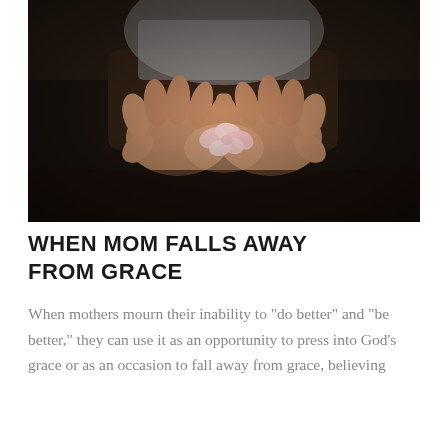[Figure (photo): Close-up photograph of two cupped hands holding small pink flower petals or blossoms against a dark blurred background. The hands appear to belong to a person wearing a light grey top.]
WHEN MOM FALLS AWAY FROM GRACE
When mothers mourn their inability to "do better" and "be better," they can use it as an opportunity to press into God's grace or as an occasion to fall away from grace, believing